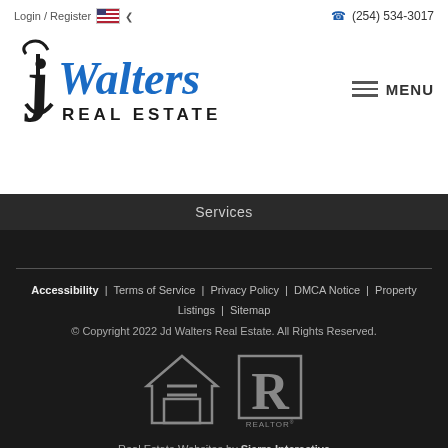Login / Register  (254) 534-3017
[Figure (logo): JD Walters Real Estate logo with stylized JD monogram in black and blue script text reading 'Walters REAL ESTATE']
MENU
Services
Accessibility  |  Terms of Service  |  Privacy Policy  |  DMCA Notice  |  Property Listings  |  Sitemap
© Copyright 2022 Jd Walters Real Estate. All Rights Reserved.
[Figure (logo): Equal Housing Opportunity logo and REALTOR logo in gray]
Real Estate Websites by Sierra Interactive